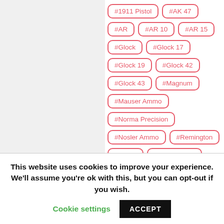#1911 Pistol
#AK 47
#AR
#AR 10
#AR 15
#Glock
#Glock 17
#Glock 19
#Glock 42
#Glock 43
#Magnum
#Mauser Ammo
#Norma Precision
#Nosler Ammo
#Remington
#Ruger
#Ruger 10/22
#Shooting Ear Protection
#Short Ammo
#Smith & Wesson
This website uses cookies to improve your experience. We'll assume you're ok with this, but you can opt-out if you wish.
Cookie settings
ACCEPT